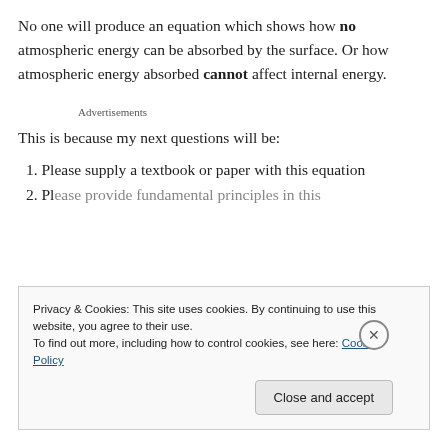No one will produce an equation which shows how no atmospheric energy can be absorbed by the surface. Or how atmospheric energy absorbed cannot affect internal energy.
Advertisements
This is because my next questions will be:
1. Please supply a textbook or paper with this equation
2. Please provide fundamental principles in this
Privacy & Cookies: This site uses cookies. By continuing to use this website, you agree to their use.
To find out more, including how to control cookies, see here: Cookie Policy